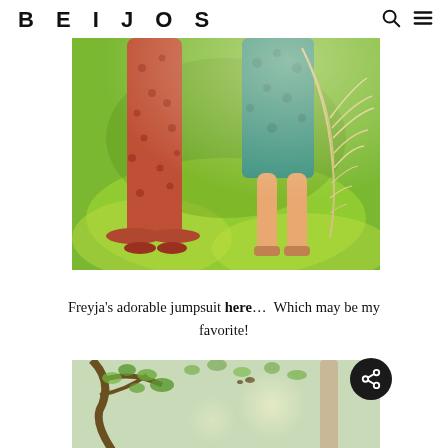BEIJOS
[Figure (photo): Two children standing on green grass — one wearing a rust/terracotta dotted wide-leg jumpsuit (left), one wearing a teal/green dress holding dried pampas grass (right), only their lower bodies visible from approximately waist down.]
Freyja's adorable jumpsuit here…  Which may be my favorite!
[Figure (photo): Partial view of trees with green leaves and light filtering through branches, light bokeh background with tree trunks visible.]